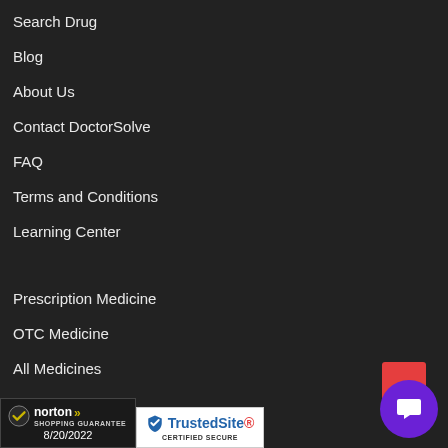Search Drug
Blog
About Us
Contact DoctorSolve
FAQ
Terms and Conditions
Learning Center
Prescription Medicine
OTC Medicine
All Medicines
Place Refill Order
[Figure (logo): Norton Shopping Guarantee badge, dated 8/20/2022]
[Figure (logo): TrustedSite Certified Secure badge]
[Figure (other): Purple chat widget circle with chat icon, and red card behind it]